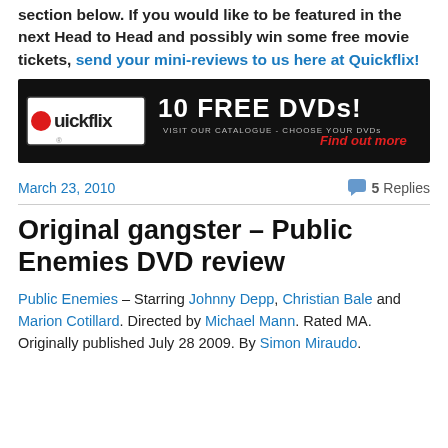section below. If you would like to be featured in the next Head to Head and possibly win some free movie tickets, send your mini-reviews to us here at Quickflix!
[Figure (other): Quickflix banner advertisement: black background with Quickflix logo on left, '10 FREE DVDs! VISIT OUR CATALOGUE - CHOOSE YOUR DVDs' in white text, 'Find out more' in red italic text on right]
March 23, 2010
5 Replies
Original gangster – Public Enemies DVD review
Public Enemies – Starring Johnny Depp, Christian Bale and Marion Cotillard. Directed by Michael Mann. Rated MA. Originally published July 28 2009. By Simon Miraudo.